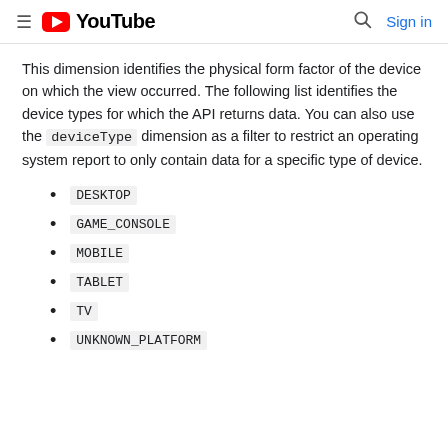YouTube — Search | Sign in
This dimension identifies the physical form factor of the device on which the view occurred. The following list identifies the device types for which the API returns data. You can also use the deviceType dimension as a filter to restrict an operating system report to only contain data for a specific type of device.
DESKTOP
GAME_CONSOLE
MOBILE
TABLET
TV
UNKNOWN_PLATFORM